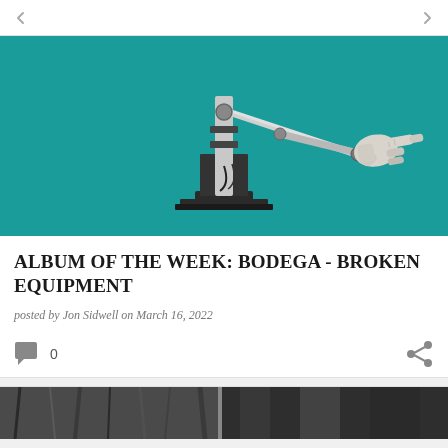[Figure (photo): Navigation bar with back and forward arrows on white background]
[Figure (photo): Album artwork for Bodega - Broken Equipment: a robotic arm with a white hand/glove pointing, mounted on a mechanical base against a teal background]
ALBUM OF THE WEEK: BODEGA - BROKEN EQUIPMENT
posted by Jon Sidwell on March 16, 2022
[Figure (other): Comment icon with count 0 and share icon]
[Figure (photo): Bottom of page showing a black and white photograph partially visible]